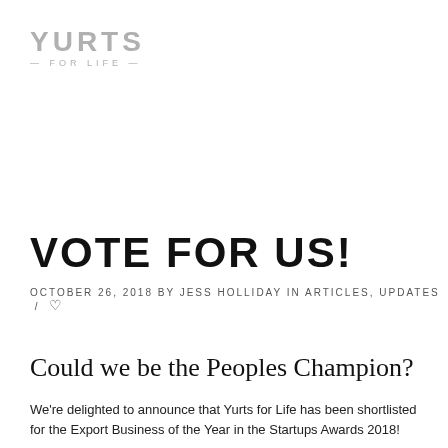[Figure (logo): Yurts for Life logo — bold gray text 'YURTS' with subtitle '— FOR LIFE —']
VOTE FOR US!
OCTOBER 26, 2018 BY JESS HOLLIDAY IN ARTICLES, UPDATES / ♡
Could we be the Peoples Champion?
We're delighted to announce that Yurts for Life has been shortlisted for the Export Business of the Year in the Startups Awards 2018!